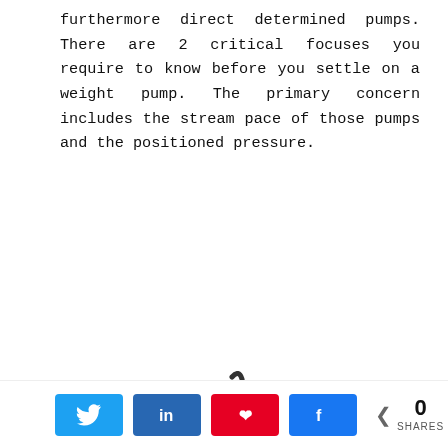furthermore direct determined pumps. There are 2 critical focuses you require to know before you settle on a weight pump. The primary concern includes the stream pace of those pumps and the positioned pressure.
[Figure (photo): A submersible pump with a black top handle and dome, silver/metallic cylindrical body, with a cable coming out of the top.]